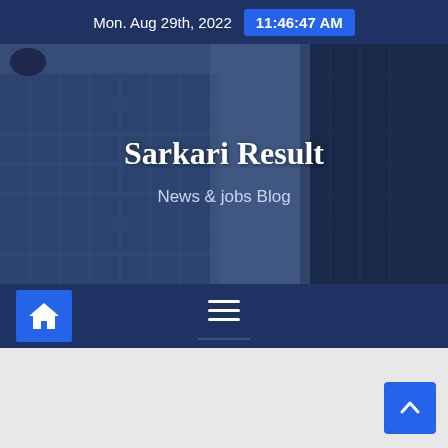Mon. Aug 29th, 2022   11:46:47 AM
[Figure (screenshot): Hero banner with city buildings photo overlay showing 'Sarkari Result' title and 'News & jobs Blog' subtitle]
Sarkari Result
News & jobs Blog
[Figure (infographic): Navigation bar with home icon button on left and hamburger menu icon centered]
[Figure (other): Scroll-to-top button (chevron up) fixed at bottom right]